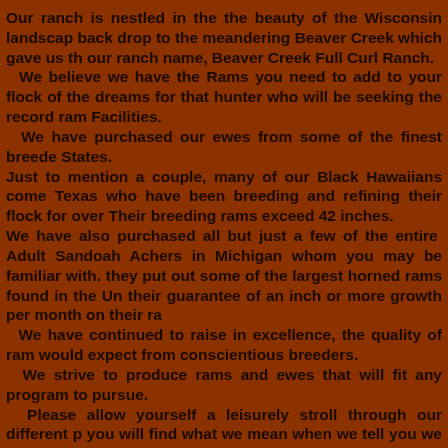Our ranch is nestled in the the beauty of the Wisconsin landscape back drop to the meandering Beaver Creek which gave us the our ranch name, Beaver Creek Full Curl Ranch. We believe we have the Rams you need to add to your flock of the dreams for that hunter who will be seeking the record ram Facilities. We have purchased our ewes from some of the finest breede States. Just to mention a couple, many of our Black Hawaiians come Texas who have been breeding and refining their flock for over Their breeding rams exceed 42 inches. We have also purchased all but just a few of the entire Adult Sandoah Achers in Michigan whom you may be familiar with. they put out some of the largest horned rams found in the Un their guarantee of an inch or more growth per month on their ra We have continued to raise in excellence, the quality of ram would expect from conscientious breeders. We strive to produce rams and ewes that will fit any program to pursue. Please allow yourself a leisurely stroll through our different p you will find what we mean when we tell you we have what some of the finest quality Horned Rams in our part of the co